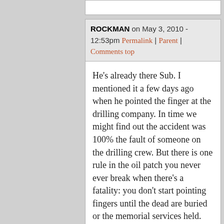ROCKMAN on May 3, 2010 - 12:53pm Permalink | Parent | Comments top
He's already there Sub. I mentioned it a few days ago when he pointed the finger at the drilling company. In time we might find out the accident was 100% the fault of someone on the drilling crew. But there is one rule in the oil patch you never ever break when there's a fatality: you don't start pointing fingers until the dead are buried or the memorial services held. The first responsibility is to the survivors. If he bumps into a Transworld hand